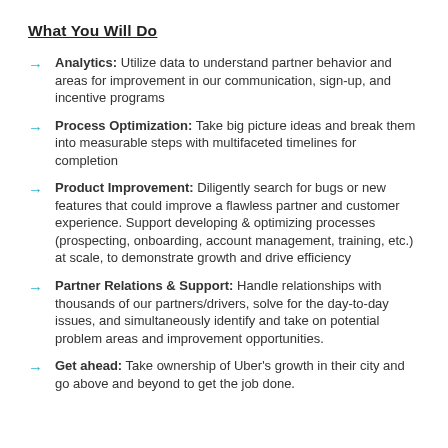What You Will Do
Analytics: Utilize data to understand partner behavior and areas for improvement in our communication, sign-up, and incentive programs
Process Optimization: Take big picture ideas and break them into measurable steps with multifaceted timelines for completion
Product Improvement: Diligently search for bugs or new features that could improve a flawless partner and customer experience. Support developing & optimizing processes (prospecting, onboarding, account management, training, etc.) at scale, to demonstrate growth and drive efficiency
Partner Relations & Support: Handle relationships with thousands of our partners/drivers, solve for the day-to-day issues, and simultaneously identify and take on potential problem areas and improvement opportunities.
Get ahead: Take ownership of Uber's growth in their city and go above and beyond to get the job done.